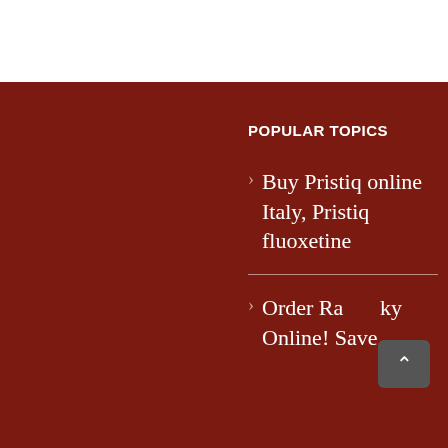POPULAR TOPICS
Buy Pristiq online Italy, Pristiq fluoxetine
Order Rameaky Online! Save